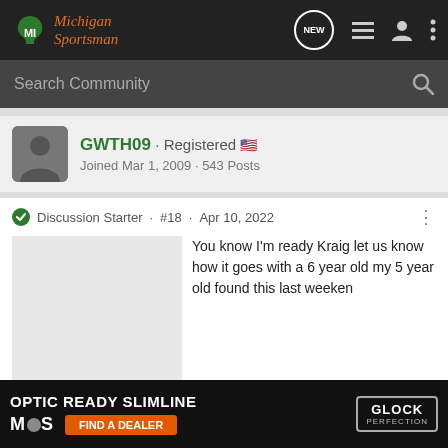Michigan Sportsman
Search Community
GWTH09 · Registered
Joined Mar 1, 2009 · 543 Posts
Discussion Starter · #18 · Apr 10, 2022
[Figure (photo): Light gray placeholder image for a post image]
You know I'm ready Kraig let us know how it goes with a 6 year old my 5 year old found this last weeken
[Figure (infographic): Glock advertisement banner: OPTIC READY SLIMLINE, MOS, FIND A DEALER, Glock PERFECTION logo]